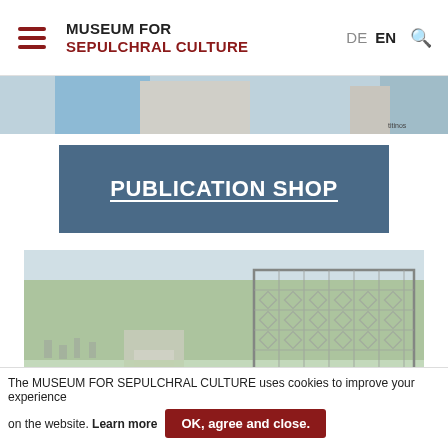MUSEUM FOR SEPULCHRAL CULTURE | DE EN
[Figure (photo): Partial hero image showing hands/people at the top of the page]
PUBLICATION SHOP
[Figure (photo): Cemetery garden photo showing a path through grave plots with trees and a decorative metal lattice panel on the right side]
The MUSEUM FOR SEPULCHRAL CULTURE uses cookies to improve your experience on the website. Learn more  OK, agree and close.